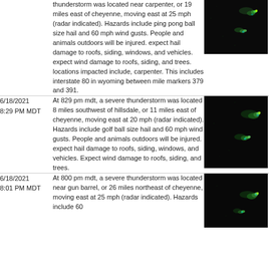6/18/2021 8:29 PM MDT — At 829 pm mdt, a severe thunderstorm was located 8 miles southwest of hillsdale, or 11 miles east of cheyenne, moving east at 20 mph (radar indicated). Hazards include golf ball size hail and 60 mph wind gusts. People and animals outdoors will be injured. expect hail damage to roofs, siding, windows, and vehicles. Expect wind damage to roofs, siding, and trees.
[Figure (photo): Radar image showing thunderstorm cell near Cheyenne area, dark background with green/cyan/yellow storm returns]
6/18/2021 8:01 PM MDT — At 800 pm mdt, a severe thunderstorm was located near gun barrel, or 26 miles northeast of cheyenne, moving east at 25 mph (radar indicated). Hazards include 60
[Figure (photo): Radar image showing thunderstorm cell northeast of Cheyenne, dark background with green/cyan storm returns]